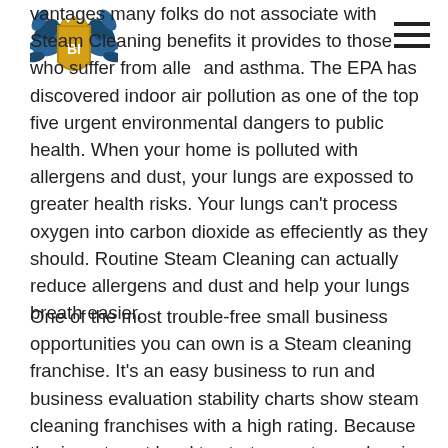BI logo and hamburger menu
vantages many folks do not associate with Steam Cleaning benefits it provides to those who suffer from allergies and asthma. The EPA has discovered indoor air pollution as one of the top five urgent environmental dangers to public health. When your home is polluted with allergens and dust, your lungs are expossed to greater health risks. Your lungs can't process oxygen into carbon dioxide as effeciently as they should. Routine Steam Cleaning can actually reduce allergens and dust and help your lungs breath easier.
One of the most trouble-free small business opportunities you can own is a Steam cleaning franchise. It's an easy business to run and business evaluation stability charts show steam cleaning franchises with a high rating. Because the investment level to start up a steam cleaning business is very low, it is a